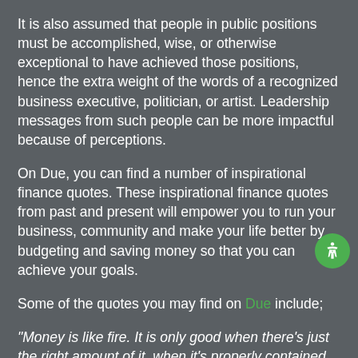It is also assumed that people in public positions must be accomplished, wise, or otherwise exceptional to have achieved those positions, hence the extra weight of the words of a recognized business executive, politician, or artist. Leadership messages from such people can be more impactful because of perceptions.
On Due, you can find a number of inspirational finance quotes. These inspirational finance quotes from past and present will empower you to run your business, community and make your life better by budgeting and saving money so that you can achieve your goals.
Some of the quotes you may find on Due include;
"Money is like fire. It is only good when there's just the right amount of it, when it's properly contained and under your control." — Vera Nazarian
"Budgeting has only one rule: Do not go over budget." —